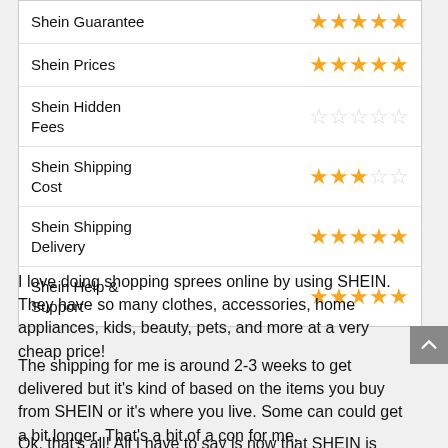| Category | Rating |
| --- | --- |
| Shein Guarantee | ★★★★★ |
| Shein Prices | ★★★★★ |
| Shein Hidden Fees | ☆☆☆☆☆ |
| Shein Shipping Cost | ★★★☆☆ |
| Shein Shipping Delivery | ★★★★★ |
| Shein Help & Support | ★★★★★ |
I love doing shopping sprees online by using SHEIN. They have so many clothes, accessories, home appliances, kids, beauty, pets, and more at a very cheap price!
The shipping for me is around 2-3 weeks to get delivered but it's kind of based on the items you buy from SHEIN or it's where you live. Some can could get a bit longer. That's a bit of a con for me.
Ok, that's all! All I have to say is now that SHEIN is